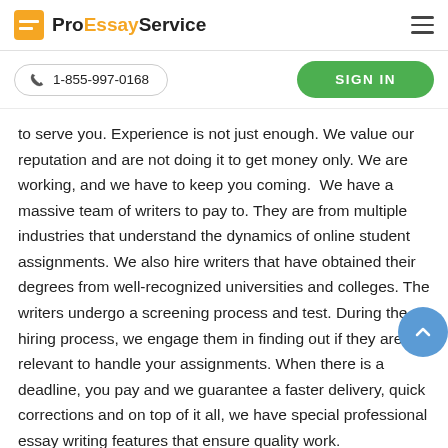ProEssayService
1-855-997-0168
SIGN IN
to serve you. Experience is not just enough. We value our reputation and are not doing it to get money only. We are working, and we have to keep you coming.  We have a massive team of writers to pay to. They are from multiple industries that understand the dynamics of online student assignments. We also hire writers that have obtained their degrees from well-recognized universities and colleges. The writers undergo a screening process and test. During the hiring process, we engage them in finding out if they are relevant to handle your assignments. When there is a deadline, you pay and we guarantee a faster delivery, quick corrections and on top of it all, we have special professional essay writing features that ensure quality work.
On submission of assignments entrusted to us, we offer a full